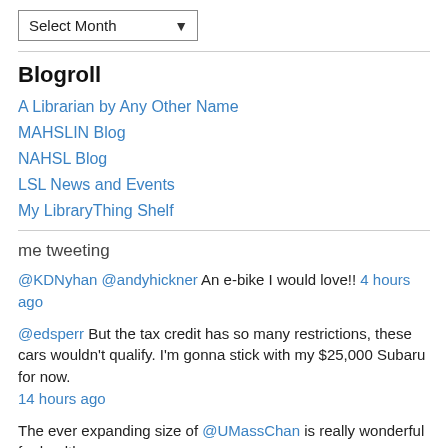Select Month (dropdown)
Blogroll
A Librarian by Any Other Name
MAHSLIN Blog
NAHSL Blog
LSL News and Events
My LibraryThing Shelf
me tweeting
@KDNyhan @andyhickner An e-bike I would love!! 4 hours ago
@edsperr But the tax credit has so many restrictions, these cars wouldn't qualify. I'm gonna stick with my $25,000 Subaru for now. 14 hours ago
The ever expanding size of @UMassChan is really wonderful for health